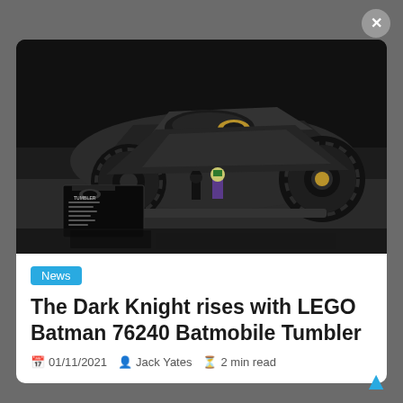[Figure (photo): LEGO Batman 76240 Batmobile Tumbler set on a dark surface, with a Joker minifigure, Batman minifigure, and information placard beside it. The Tumbler is a large black vehicle with prominent wheels.]
News
The Dark Knight rises with LEGO Batman 76240 Batmobile Tumbler
01/11/2021   Jack Yates   2 min read